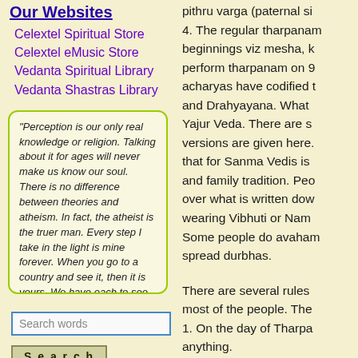Our Websites
Celextel Spiritual Store
Celextel eMusic Store
Vedanta Spiritual Library
Vedanta Shastras Library
"Perception is our only real knowledge or religion. Talking about it for ages will never make us know our soul. There is no difference between theories and atheism. In fact, the atheist is the truer man. Every step I take in the light is mine forever. When you go to a country and see it, then it is yours. We have each to see for ourselves; teachers can only "bring the food"; we must eat it to be nourished.
Search words
Search
pithru varga (paternal si...4. The regular tharpanam... beginnings viz mesha, k... perform tharpanam on 9... acharyas have codified t... and Drahyayana. What ... Yajur Veda. There are s... versions are given here. ... that for Sanma Vedis is ... and family tradition. Peo... over what is written dow... wearing Vibhuti or Nam... Some people do avaham... spread durbhas.
There are several rules ... most of the people. The... 1. On the day of Tharpa... anything.
2. On the day of tharpa...